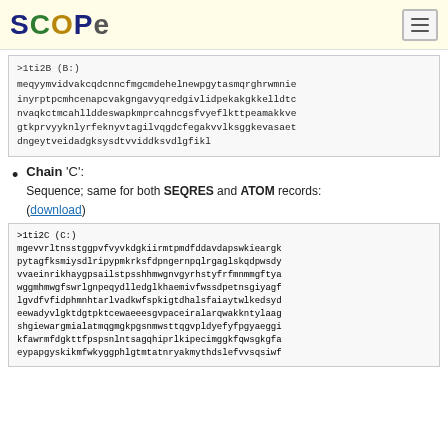SCOPe
>1ti2B (B:)
meqyymvidvakcqdcnncfmgcmdehelnewpgytasmqrghrwmnie
inyrptpcmhcenapcvakgngavyqredgivlidpekakgkkelldtc
nvaqkctmcahllddeswapkmprcahncgsfvyeflkttpeamakkve
gtkprvyyknlyrfeknyvtagilvqgdcfegakvvlksggkevasaet
dngeytveidadgksysdtvviddksvdlgfikl
Chain 'C':
Sequence; same for both SEQRES and ATOM records:
(download)
>1ti2C (C:)
mgevvrltnsstggpvfvyvkdgkiirmtpmdfddavdapswkieargk
pytagfksmiysdlripypmkrksfdpngernpqlrgaglskqdpwsdy
vvaeinrikhaygpsailstpsshhmwgnvgyrhstyfrfmnmmgftya
wggmhmwgfswrlgnpeqydlledglkhaemivfwssdpetnsgiyagf
lgvdfvfidphmnhtarlvadkwfspkigtdhalsfaiaytwlkedsyd
eewadyvlgktdgtpktcewaeeesgvpaceiralarqwakkntylaag
shgiewargmialatmqgmgkpgsnmwsttqgvpldyefyfpgyaeggi
kfawrmfdgkttfpspsnlntsagqhiprlkipecimggkfqwsgkgfa
eypapgyskikmfwkyggphlgtmtatnryakmythdslefvvsqsiwf